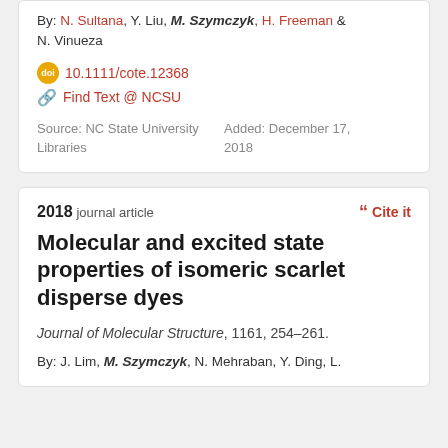By: N. Sultana, Y. Liu, M. Szymczyk, H. Freeman & N. Vinueza
10.1111/cote.12368
Find Text @ NCSU
Source: NC State University Libraries
Added: December 17, 2018
2018 journal article
Cite it
Molecular and excited state properties of isomeric scarlet disperse dyes
Journal of Molecular Structure, 1161, 254–261.
By: J. Lim, M. Szymczyk, N. Mehraban, Y. Ding, L.